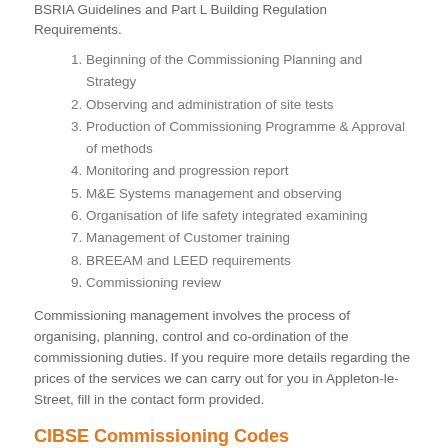BSRIA Guidelines and Part L Building Regulation Requirements.
Beginning of the Commissioning Planning and Strategy
Observing and administration of site tests
Production of Commissioning Programme & Approval of methods
Monitoring and progression report
M&E Systems management and observing
Organisation of life safety integrated examining
Management of Customer training
BREEAM and LEED requirements
Commissioning review
Commissioning management involves the process of organising, planning, control and co-ordination of the commissioning duties. If you require more details regarding the prices of the services we can carry out for you in Appleton-le-Street, fill in the contact form provided.
CIBSE Commissioning Codes
The CIBSE Commissioning Codes ensure that the properties HVAC system is commissioned correctly and to a high standard